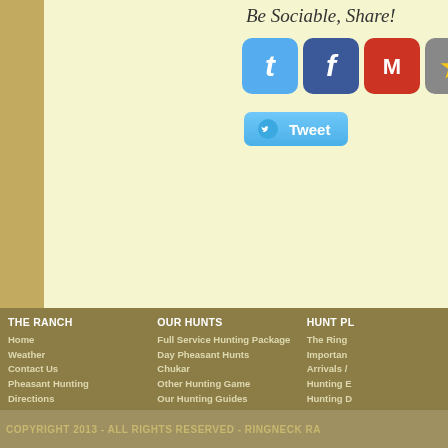Be Sociable, Share!
[Figure (infographic): Social sharing icons: Twitter (blue t), Facebook (blue f), Gmail (red M), Star/bookmark (grey star), and a partially visible S icon]
[Figure (infographic): Tweet button with Twitter bird icon]
THE RANCH
Home
Weather
Contact Us
Pheasant Hunting
Directions
The Ringneck Staff
Ringneck Ranch Airstrip
Commercial Airlines
Testimonials
About Us
F.A.Q.'s
Employment Opportunities
OUR HUNTS
Full Service Hunting Package
Day Pheasant Hunts
Chukar
Other Hunting Game
Our Hunting Guides
Optional / Additional
Reservations & Deposits
F.A.Q.'s
Hunting Photos
Clay Range
HUNT PL
The Ring
Importan
Arrivals /
Hunting E
Hunting D
Hunting L
Hunting S
Special R
Transpor
F.A.Q.'s
COPYRIGHT 2013 - ALL RIGHTS RESERVED - RINGNECK RA